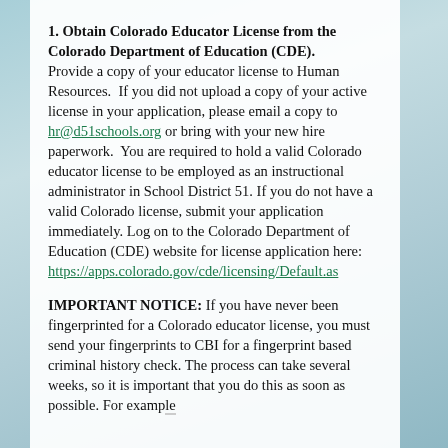1. Obtain Colorado Educator License from the Colorado Department of Education (CDE). Provide a copy of your educator license to Human Resources. If you did not upload a copy of your active license in your application, please email a copy to hr@d51schools.org or bring with your new hire paperwork. You are required to hold a valid Colorado educator license to be employed as an instructional administrator in School District 51. If you do not have a valid Colorado license, submit your application immediately. Log on to the Colorado Department of Education (CDE) website for license application here: https://apps.colorado.gov/cde/licensing/Default.as
IMPORTANT NOTICE: If you have never been fingerprinted for a Colorado educator license, you must send your fingerprints to CBI for a fingerprint based criminal history check. The process can take several weeks, so it is important that you do this as soon as possible. For example...